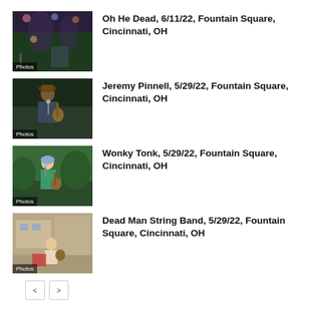[Figure (photo): Concert photo of musicians on stage at night, labeled Photos]
Oh He Dead, 6/11/22, Fountain Square, Cincinnati, OH
[Figure (photo): Photo of musician with guitar and hat, labeled Photos]
Jeremy Pinnell, 5/29/22, Fountain Square, Cincinnati, OH
[Figure (photo): Photo of female musician with guitar outdoors, labeled Photos]
Wonky Tonk, 5/29/22, Fountain Square, Cincinnati, OH
[Figure (photo): Photo of musician seated with instrument, labeled Photos]
Dead Man String Band, 5/29/22, Fountain Square, Cincinnati, OH